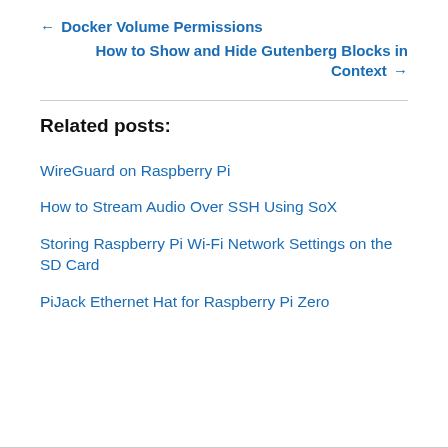← Docker Volume Permissions
How to Show and Hide Gutenberg Blocks in Context →
Related posts:
WireGuard on Raspberry Pi
How to Stream Audio Over SSH Using SoX
Storing Raspberry Pi Wi-Fi Network Settings on the SD Card
PiJack Ethernet Hat for Raspberry Pi Zero